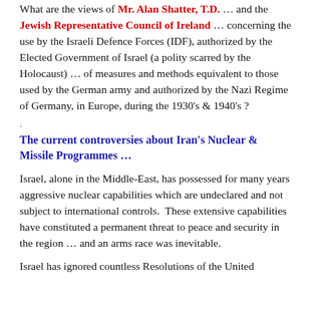What are the views of Mr. Alan Shatter, T.D. ... and the Jewish Representative Council of Ireland ... concerning the use by the Israeli Defence Forces (IDF), authorized by the Elected Government of Israel (a polity scarred by the Holocaust) ... of measures and methods equivalent to those used by the German army and authorized by the Nazi Regime of Germany, in Europe, during the 1930's & 1940's ?
.
The current controversies about Iran's Nuclear & Missile Programmes ...
Israel, alone in the Middle-East, has possessed for many years aggressive nuclear capabilities which are undeclared and not subject to international controls.  These extensive capabilities have constituted a permanent threat to peace and security in the region ... and an arms race was inevitable.
Israel has ignored countless Resolutions of the United